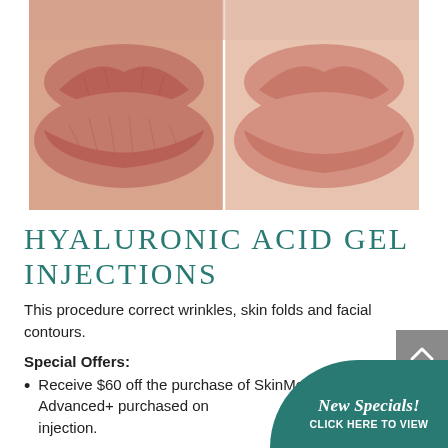[Figure (photo): Before/after comparison photo split vertically showing lips — left side appears more aged/textured, right side appears fuller and smoother after hyaluronic acid gel injection treatment]
HYALURONIC ACID GEL INJECTIONS
This procedure correct wrinkles, skin folds and facial contours.
Special Offers:
Receive $60 off the purchase of SkinMedica TNS or TNS Advanced+ purchased on day of injection.